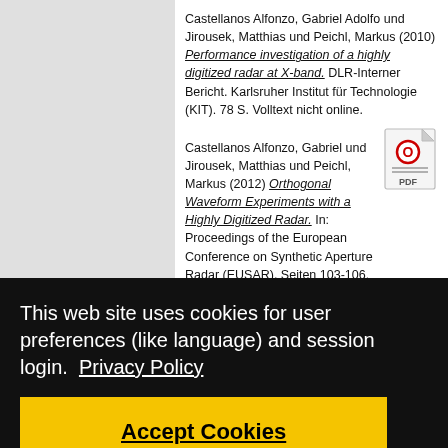Castellanos Alfonzo, Gabriel Adolfo und Jirousek, Matthias und Peichl, Markus (2010) Performance investigation of a highly digitized radar at X-band. DLR-Interner Bericht. Karlsruher Institut für Technologie (KIT). 78 S. Volltext nicht online.
Castellanos Alfonzo, Gabriel und Jirousek, Matthias und Peichl, Markus (2012) Orthogonal Waveform Experiments with a Highly Digitized Radar. In: Proceedings of the European Conference on Synthetic Aperture Radar (EUSAR), Seiten 103-106. VDE Verlag GmbH. European Conference on Synthetic Aperture Radar (EUSAR), 2012-04-23 -
[Figure (other): PDF icon/link for the second reference entry]
This web site uses cookies for user preferences (like language) and session login.  Privacy Policy
Accept Cookies
...0) ...igitized ...er ...ht
...s und ...uhrer, ... ...0) ...ant- ...sor ...05- ...2020, Vienna, Austria. Volltext nicht online.